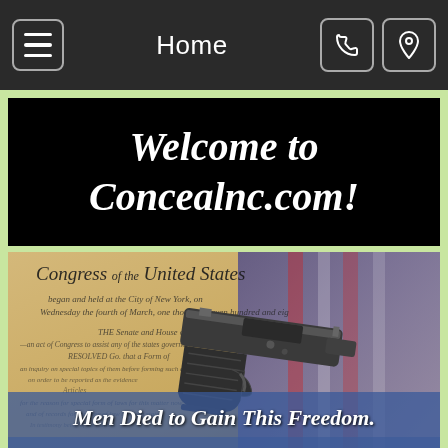Home
Welcome to Concealnc.com!
[Figure (photo): Photo of a handgun resting on a copy of the United States Constitution with an American flag in the background, and text overlay: 'Men Died to Gain This Freedom.']